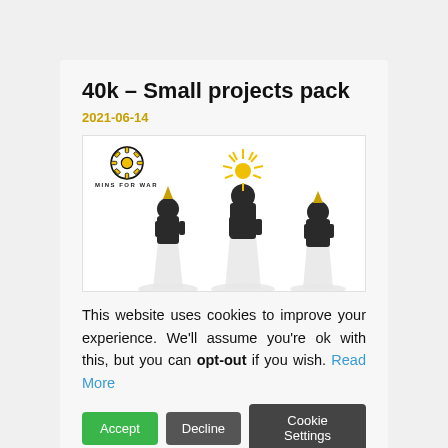40k – Small projects pack
2021-06-14
[Figure (photo): Photo of three Warhammer 40k miniature figurines (Sisters of Battle or similar), painted in black and gold armor with white robes, against a white background. The Mins For War logo appears in the top left.]
This website uses cookies to improve your experience. We'll assume you're ok with this, but you can opt-out if you wish. Read More
Accept   Decline   Cookie Settings